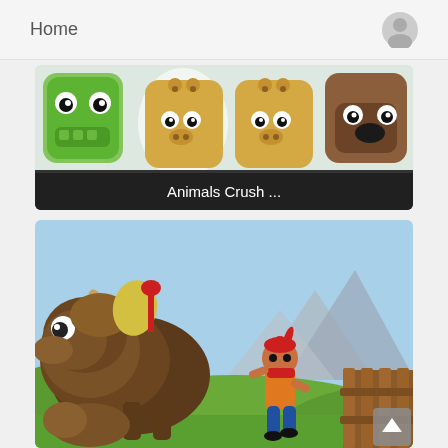Home
[Figure (screenshot): Animals Crush game app card showing cartoon animal characters including a green frog, two yellow giraffe-like animals, and a brown beaver on a light background, with dark label bar showing 'Animals Crush ...']
Animals Crush ...
[Figure (screenshot): Runner game screenshot showing a large shaggy brown bison/buffalo on the left and a cartoon Native American boy character running from it on the right, with green hills and mountains in the background, wooden fence on right side]